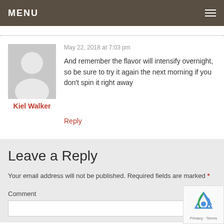MENU
May 22, 2018 at 7:03 pm
And remember the flavor will intensify overnight, so be sure to try it again the next morning if you don't spin it right away
Kiel Walker
Reply
Leave a Reply
Your email address will not be published. Required fields are marked *
Comment